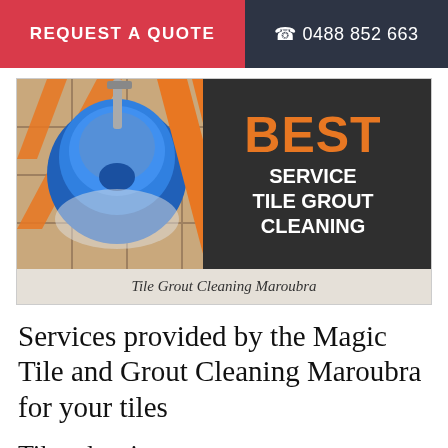REQUEST A QUOTE  |  📞 0488 852 663
[Figure (photo): Banner image showing a blue tile cleaning machine on a tile floor, with dark background on right side showing text: BEST SERVICE TILE GROUT CLEANING]
Tile Grout Cleaning Maroubra
Services provided by the Magic Tile and Grout Cleaning Maroubra for your tiles
Tiles cleaning